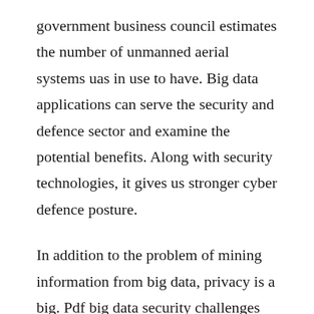government business council estimates the number of unmanned aerial systems uas in use to have. Big data applications can serve the security and defence sector and examine the potential benefits. Along with security technologies, it gives us stronger cyber defence posture.
In addition to the problem of mining information from big data, privacy is a big. Pdf big data security challenges and recommendations. Sinequa and systran cooperate in the analysis and multilingual